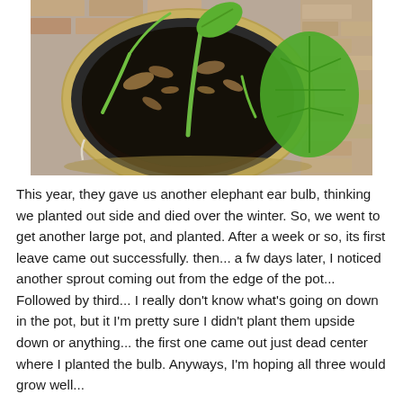[Figure (photo): Aerial view of a round black plant pot with dark soil, showing two or three green elephant ear plant sprouts emerging, with a large leaf visible at the right edge and a brick wall in the background.]
This year, they gave us another elephant ear bulb, thinking we planted out side and died over the winter. So, we went to get another large pot, and planted. After a week or so, its first leave came out successfully. then... a fw days later, I noticed another sprout coming out from the edge of the pot... Followed by third... I really don't know what's going on down in the pot, but it I'm pretty sure I didn't plant them upside down or anything... the first one came out just dead center where I planted the bulb. Anyways, I'm hoping all three would grow well...